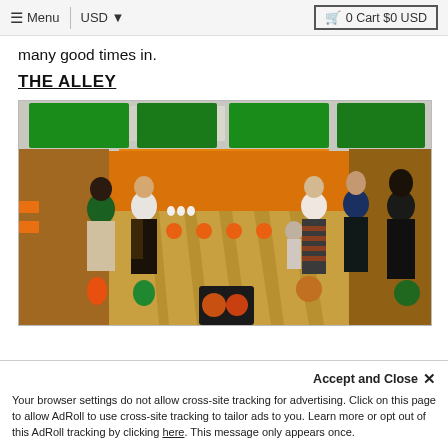≡ Menu  |  USD ▼  🛒 0 Cart $0 USD
many good times in.
THE ALLEY
[Figure (photo): People holding bowling balls in a bowling alley with orange lanes and overhead TV screens]
Accept and Close ✕  Your browser settings do not allow cross-site tracking for advertising. Click on this page to allow AdRoll to use cross-site tracking to tailor ads to you. Learn more or opt out of this AdRoll tracking by clicking here. This message only appears once.